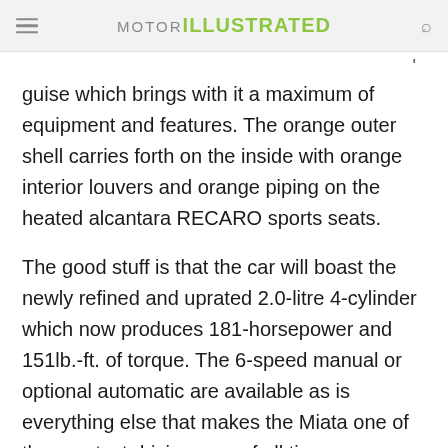MOTOR ILLUSTRATED
guise which brings with it a maximum of equipment and features. The orange outer shell carries forth on the inside with orange interior louvers and orange piping on the heated alcantara RECARO sports seats.
The good stuff is that the car will boast the newly refined and uprated 2.0-litre 4-cylinder which now produces 181-horsepower and 151lb.-ft. of torque. The 6-speed manual or optional automatic are available as is everything else that makes the Miata one of the greatest driving cars of all time.